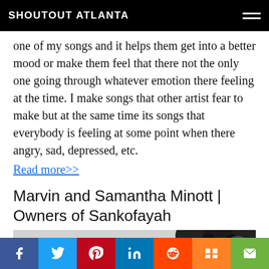SHOUTOUT ATLANTA
one of my songs and it helps them get into a better mood or make them feel that there not the only one going through whatever emotion there feeling at the time. I make songs that other artist fear to make but at the same time its songs that everybody is feeling at some point when there angry, sad, depressed, etc.
Read more>>
Marvin and Samantha Minott | Owners of Sankofayah
[Figure (photo): Partial photo of a person with curly dark hair visible at the right side of the image strip, with a light gray background on the left.]
Social share buttons: Facebook, Twitter, Pinterest, LinkedIn, Reddit, Mix, Email